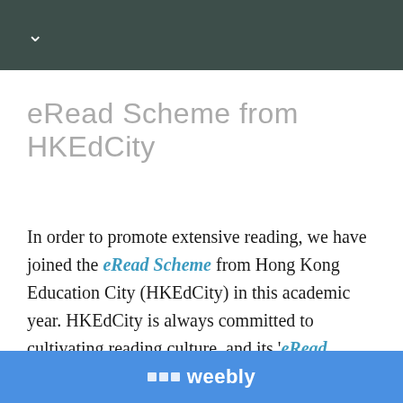✓ (chevron/navigation bar)
eRead Scheme from HKEdCity
In order to promote extensive reading, we have joined the eRead Scheme from Hong Kong Education City (HKEdCity) in this academic year. HKEdCity is always committed to cultivating reading culture, and its 'eRead Scheme' provides yearly subscription of eBooks.
weebly